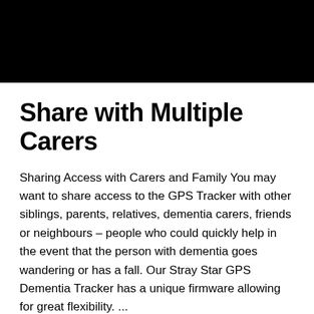[Figure (photo): Black banner image at the top of the page]
Share with Multiple Carers
Sharing Access with Carers and Family You may want to share access to the GPS Tracker with other siblings, parents, relatives, dementia carers, friends or neighbours – people who could quickly help in the event that the person with dementia goes wandering or has a fall. Our Stray Star GPS Dementia Tracker has a unique firmware allowing for great flexibility. ...
Read More